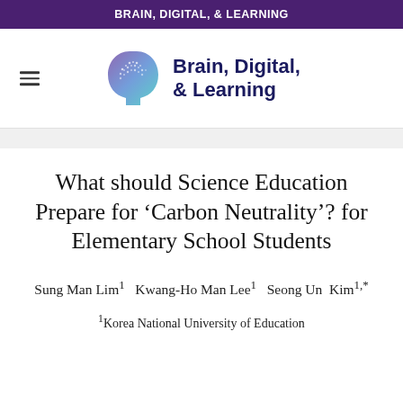BRAIN, DIGITAL, & LEARNING
[Figure (logo): Brain, Digital, & Learning journal logo with a stylized brain/head icon in purple and teal gradient, and the text 'Brain, Digital, & Learning' in dark navy blue sans-serif font]
What should Science Education Prepare for ‘Carbon Neutrality’? for Elementary School Students
Sung Man Lim¹  Kwang-Ho Man Lee¹  Seong Un Kim¹*
¹Korea National University of Education